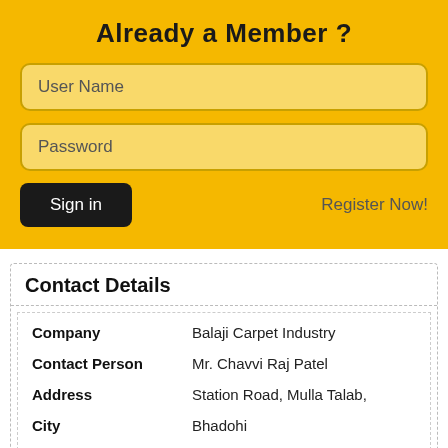Already a Member ?
User Name
Password
Sign in
Register Now!
Contact Details
| Field | Value |
| --- | --- |
| Company | Balaji Carpet Industry |
| Contact Person | Mr. Chavvi Raj Patel |
| Address | Station Road, Mulla Talab, |
| City | Bhadohi |
| Country | India |
| Tel | 91541424412 |
| Fax | 91541424412 |